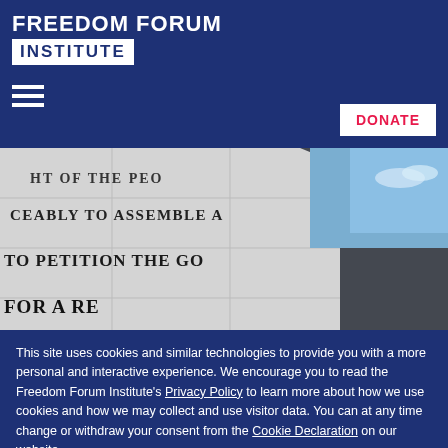[Figure (logo): Freedom Forum Institute logo — white text on dark blue background, with INSTITUTE in a white box]
[Figure (photo): Exterior of a building with First Amendment text engraved on stone wall, partial text visible: 'THE RIGHT OF THE PEO', 'CEABLY TO ASSEMBLE A', 'TO PETITION THE GO', 'FOR A RE'. Sky visible at upper right.]
This site uses cookies and similar technologies to provide you with a more personal and interactive experience. We encourage you to read the Freedom Forum Institute's Privacy Policy to learn more about how we use cookies and how we may collect and use visitor data. You can at any time change or withdraw your consent from the Cookie Declaration on our website.
Allow selection
Allow all cookies
Necessary   Preferences   Statistics   Show